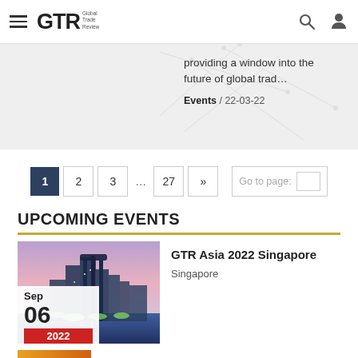GTR Global Trade Review
providing a window into the future of global trad...
Events / 22-03-22
1  2  3  ...  27  »   Go to page:
UPCOMING EVENTS
[Figure (photo): Singapore skyline at night with illuminated gardens and hotels]
GTR Asia 2022 Singapore
Singapore
Sep 06 2022